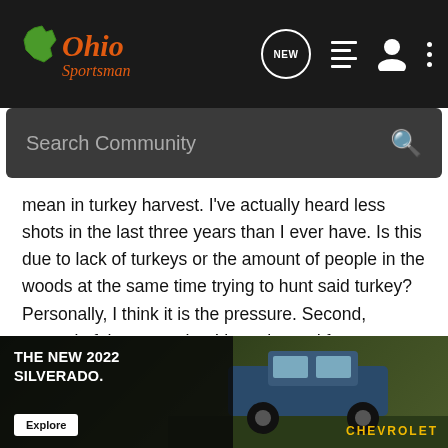Ohio Sportsman
mean in turkey harvest. I've actually heard less shots in the last three years than I ever have. Is this due to lack of turkeys or the amount of people in the woods at the same time trying to hunt said turkey? Personally, I think it is the pressure. Second, several of the areas that I have hunted for years have been logged out and the turkeys no longer use that area (At least to roost on), Which in turn creates less area for turkey hunting and contributes to greater hunting pressure in the surrounding areas.
I've been hunting several large areas of public for over 40 years. Turkey hunted that same land for the last 20 years. Logging has always been something that you deal with. But the new "O... turkey hunting ..."
[Figure (screenshot): Chevrolet advertisement banner showing THE NEW 2022 SILVERADO. with an Explore button and a truck in a field, Chevrolet logo visible]